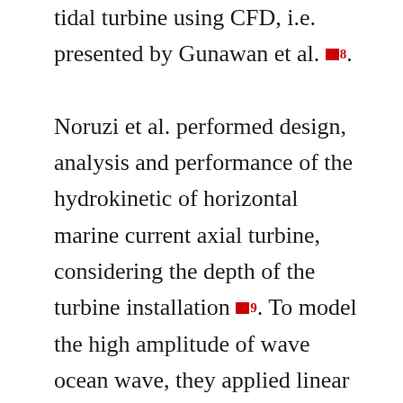tidal turbine using CFD, i.e. presented by Gunawan et al. [8]. Noruzi et al. performed design, analysis and performance of the hydrokinetic of horizontal marine current axial turbine, considering the depth of the turbine installation [9]. To model the high amplitude of wave ocean wave, they applied linear wave theory for gravity waves. The actuator disk theory to display the tidal turbine was simulated [10]. In their research, several turbulence models used to simulate the wake behind a turbine represented by a porous disk are compared. The tested models were the Standard and the realizable k-ε models, the SST